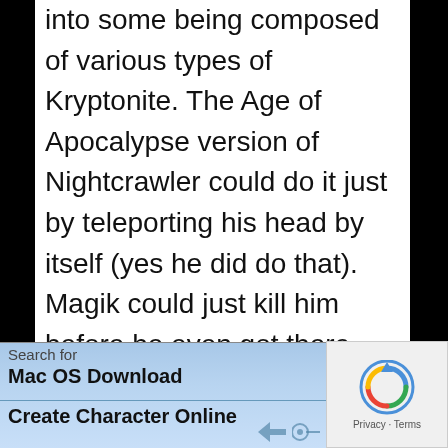into some being composed of various types of Kryptonite. The Age of Apocalypse version of Nightcrawler could do it just by teleporting his head by itself (yes he did do that). Magik could just kill him before he even got there (because Jean or Prof.X could sense his mind from a mile away). I could go on like this for a while but these are just a few examples.
Search for
Mac OS Download
Create Character Online